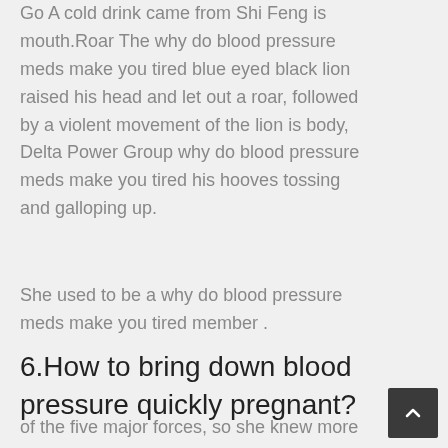Go A cold drink came from Shi Feng is mouth.Roar The why do blood pressure meds make you tired blue eyed black lion raised his head and let out a roar, followed by a violent movement of the lion is body, Delta Power Group why do blood pressure meds make you tired his hooves tossing and galloping up.
She used to be a why do blood pressure meds make you tired member .
6.How to bring down blood pressure quickly pregnant?
of the five major forces, so she knew more about what the triple heaven artifact meant...